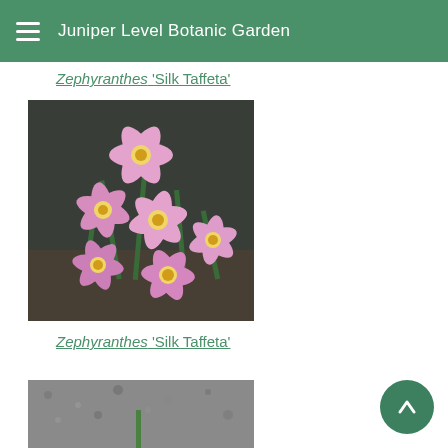Juniper Level Botanic Garden
Zephyranthes 'Silk Taffeta'
[Figure (photo): Close-up photo of multiple pink star-shaped Zephyranthes flowers with yellow centers and green stems against a dark background]
Zephyranthes 'Silk Taffeta'
[Figure (photo): Close-up photo of a white Zephyranthes flower partially visible at the bottom of the page]